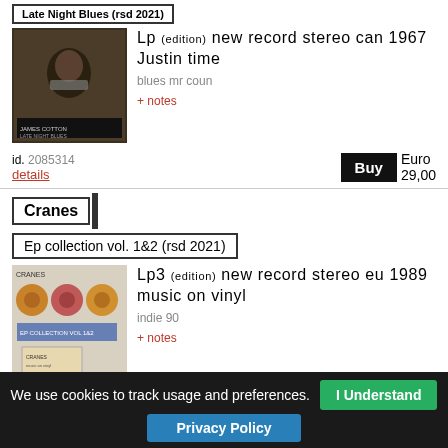Late Night Blues (rsd 2021)
Lp (edition) new record stereo can 1967 Justin time
blues mr coun
+ notes
[Figure (photo): Album cover for James Cotton - Late Night Blues, showing a man playing harmonica in a dark, close-up portrait photo]
id. 2085314
details
Euro 29,00
Cranes
Ep collection vol. 1&2 (rsd 2021)
Lp3 (edition) new record stereo eu 1989 music on vinyl
indie 90
+ notes
[Figure (photo): Album cover for Cranes - Ep collection vol. 1&2, showing circular shapes/medallions on a light background with text]
id. 2110744
details
Euro 42,00
We use cookies to track usage and preferences. I Understand
Privacy Policy